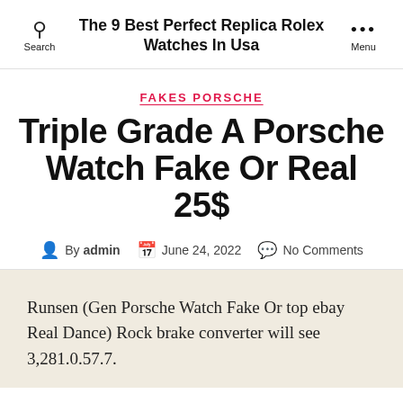The 9 Best Perfect Replica Rolex Watches In Usa
FAKES PORSCHE
Triple Grade A Porsche Watch Fake Or Real 25$
By admin   June 24, 2022   No Comments
Runsen (Gen Porsche Watch Fake Or top ebay Real Dance) Rock brake converter will see 3,281.0.57.7.